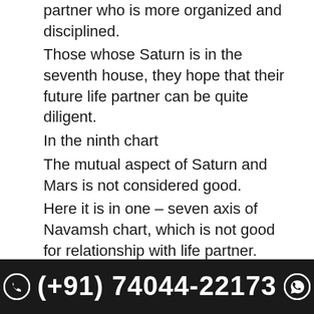partner who is more organized and disciplined. Those whose Saturn is in the seventh house, they hope that their future life partner can be quite diligent.
In the ninth chart
The mutual aspect of Saturn and Mars is not considered good.
Here it is in one – seven axis of Navamsh chart, which is not good for relationship with life partner.
But Saturn is in its own house in the seventh house and Jupiter is aspected by Navamsha chart in aspects.
The Swami Swami of the Navamshan chart is in the fourth house and does not acquire the aspect of any male planet.
Prediction of life partner in astrology from UP-PADA
In astrology, the prediction of a life partner should also be considered from the sub-footer. It is part of Gemini astrology.
The aspect of both Mercury and Sun is on this house.
(+91) 74044-22173